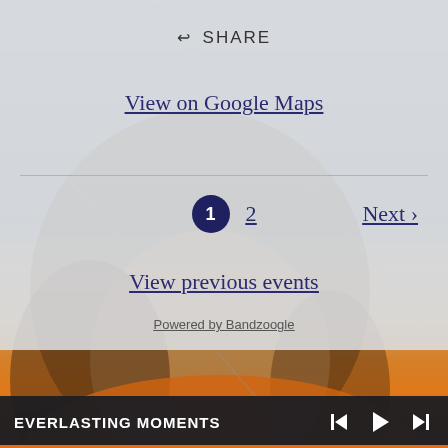[Figure (screenshot): Screenshot of a website showing a share button, Google Maps link, pagination (page 1 active, page 2 link, Next link), View previous events link, Powered by Bandzoogle footer, with a background photo of a person wearing an orange shirt, and a media player bar at the bottom showing EVERLASTING MOMENTS with playback controls.]
SHARE
View on Google Maps
1  2  Next ›
View previous events
Powered by Bandzoogle
EVERLASTING MOMENTS